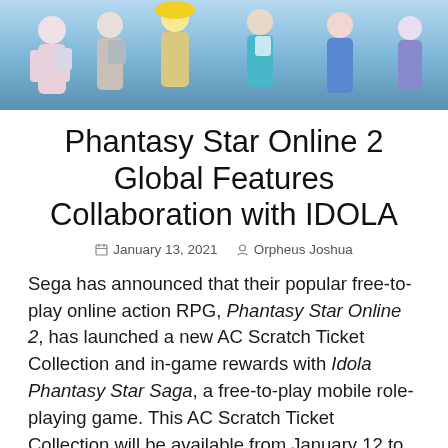[Figure (illustration): Banner image showing anime-style characters from Phantasy Star / Idola collaboration, set against a blue sky background]
Phantasy Star Online 2 Global Features Collaboration with IDOLA
January 13, 2021  Orpheus Joshua
Sega has announced that their popular free-to-play online action RPG, Phantasy Star Online 2, has launched a new AC Scratch Ticket Collection and in-game rewards with Idola Phantasy Star Saga, a free-to-play mobile role-playing game. This AC Scratch Ticket Collection will be available from January 12 to February 9. Completing urgent quests during